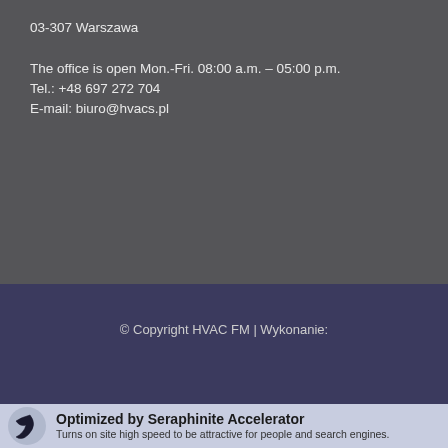03-307 Warszawa
The office is open Mon.-Fri. 08:00 a.m. – 05:00 p.m.
Tel.: +48 697 272 704
E-mail: biuro@hvacs.pl
© Copyright HVAC FM | Wykonanie:
Optimized by Seraphinite Accelerator
Turns on site high speed to be attractive for people and search engines.